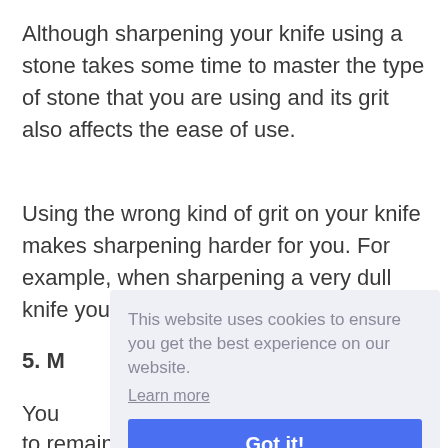Although sharpening your knife using a stone takes some time to master the type of stone that you are using and its grit also affects the ease of use.
Using the wrong kind of grit on your knife makes sharpening harder for you. For example, when sharpening a very dull knife you need to start with also high
5. N
You
to remain useful for long. However, the
[Figure (other): Cookie consent popup overlay with text 'This website uses cookies to ensure you get the best experience on our website.', a 'Learn more' link, and a blue 'Got it!' button.]